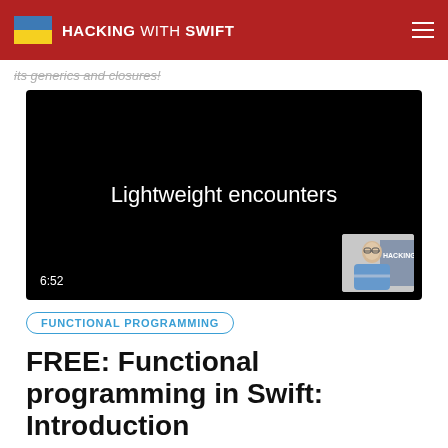HACKING WITH SWIFT
its generics and closures!
[Figure (screenshot): Video thumbnail with black background showing text 'Lightweight encounters' and a picture-in-picture of a person, with duration 6:52 shown in bottom left]
FUNCTIONAL PROGRAMMING
FREE: Functional programming in Swift: Introduction